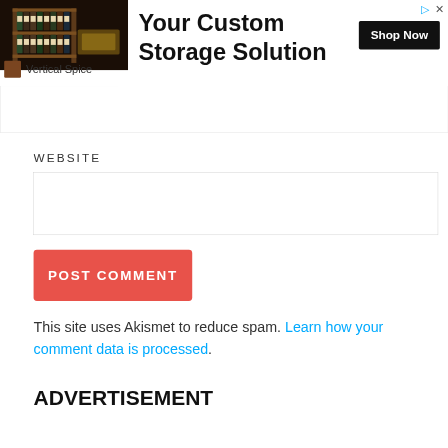[Figure (screenshot): Advertisement banner for Vertical Spice custom storage solution showing spice rack image, headline 'Your Custom Storage Solution', 'Shop Now' button, and Vertical Spice brand logo]
[Figure (screenshot): Collapse/accordion tab with upward caret arrow]
WEBSITE
[Figure (screenshot): Empty WEBSITE text input field]
POST COMMENT
This site uses Akismet to reduce spam. Learn how your comment data is processed.
ADVERTISEMENT